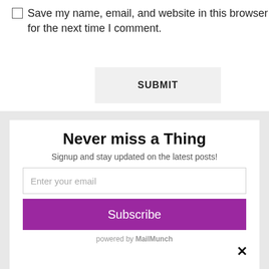Save my name, email, and website in this browser for the next time I comment.
SUBMIT
Never miss a Thing
Signup and stay updated on the latest posts!
Enter your email
Subscribe
powered by MailMunch